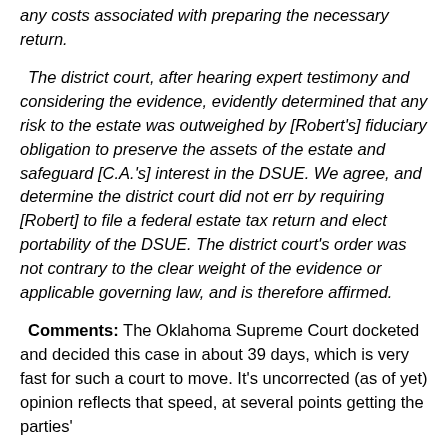any costs associated with preparing the necessary return.
The district court, after hearing expert testimony and considering the evidence, evidently determined that any risk to the estate was outweighed by [Robert's] fiduciary obligation to preserve the assets of the estate and safeguard [C.A.'s] interest in the DSUE. We agree, and determine the district court did not err by requiring [Robert] to file a federal estate tax return and elect portability of the DSUE. The district court's order was not contrary to the clear weight of the evidence or applicable governing law, and is therefore affirmed.
Comments: The Oklahoma Supreme Court docketed and decided this case in about 39 days, which is very fast for such a court to move. It's uncorrected (as of yet) opinion reflects that speed, at several points getting the parties'